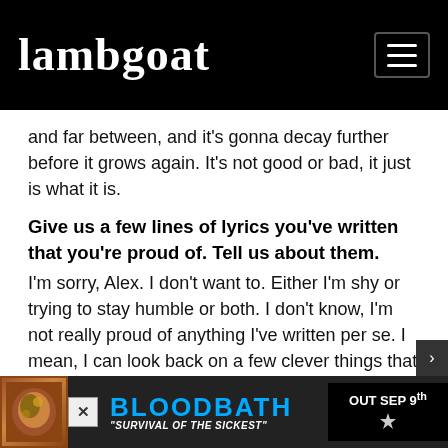lambgoat
and far between, and it's gonna decay further before it grows again. It's not good or bad, it just is what it is.
Give us a few lines of lyrics you've written that you're proud of. Tell us about them.
I'm sorry, Alex. I don't want to. Either I'm shy or trying to stay humble or both. I don't know, I'm not really proud of anything I've written per se. I mean, I can look back on a few clever things that I did write and just be glad I was the one to think of that first or whatever, but to be proud of my lyrical output wouldn't really make sense for me. I'd have to reread it all myself to begin with, and that wouldn't make sense to
[Figure (infographic): Advertisement banner for Bloodbath 'Survival of the Sickest' - Out Sep 9th]